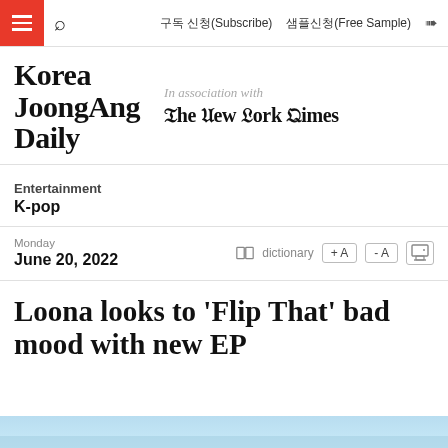구독 신청(Subscribe)  샘플신청(Free Sample)
[Figure (logo): Korea JoongAng Daily logo in bold serif font, with 'In association with The New York Times' to the right]
Entertainment
K-pop
Monday
June 20, 2022
Loona looks to 'Flip That' bad mood with new EP
[Figure (photo): Partial blue-toned image visible at the bottom of the page]